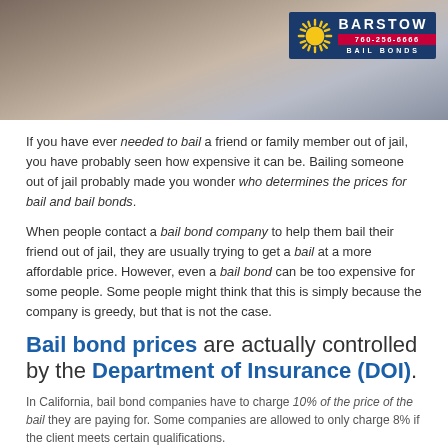[Figure (photo): Photo of a person in a grey hoodie holding their chin thoughtfully, with a Barstow Bail Bonds logo overlay in the top right corner (blue background, sun icon, phone number 760-256-6666).]
If you have ever needed to bail a friend or family member out of jail, you have probably seen how expensive it can be. Bailing someone out of jail probably made you wonder who determines the prices for bail and bail bonds.
When people contact a bail bond company to help them bail their friend out of jail, they are usually trying to get a bail at a more affordable price. However, even a bail bond can be too expensive for some people. Some people might think that this is simply because the company is greedy, but that is not the case.
Bail bond prices are actually controlled by the Department of Insurance (DOI).
In California, bail bond companies have to charge 10% of the price of the bail they are paying for. Some companies are allowed to only charge 8% if the client meets certain qualifications.